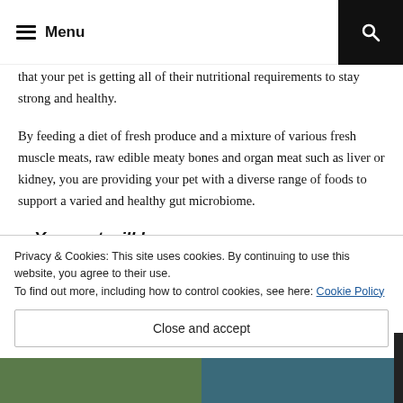Menu
that your pet is getting all of their nutritional requirements to stay strong and healthy.
By feeding a diet of fresh produce and a mixture of various fresh muscle meats, raw edible meaty bones and organ meat such as liver or kidney, you are providing your pet with a diverse range of foods to support a varied and healthy gut microbiome.
Your pet will have more energy on a
Privacy & Cookies: This site uses cookies. By continuing to use this website, you agree to their use.
To find out more, including how to control cookies, see here: Cookie Policy
Close and accept